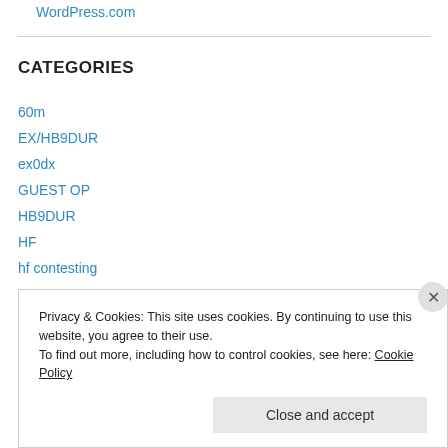WordPress.com
CATEGORIES
60m
EX/HB9DUR
ex0dx
GUEST OP
HB9DUR
HF
hf contesting
news
Swac
Privacy & Cookies: This site uses cookies. By continuing to use this website, you agree to their use.
To find out more, including how to control cookies, see here: Cookie Policy
Close and accept